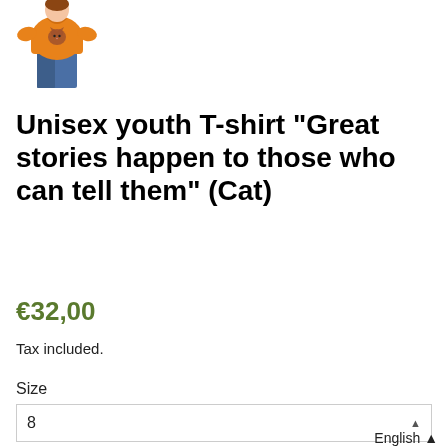[Figure (photo): Product photo of a person wearing an orange youth T-shirt with a cat graphic on the front, paired with blue jeans. Only the torso and legs are visible. The shirt is bright orange with a cat image on the chest.]
Unisex youth T-shirt "Great stories happen to those who can tell them" (Cat)
€32,00
Tax included.
Size
8
English